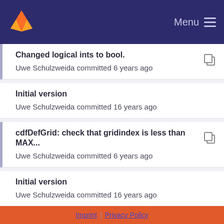Menu
Changed logical ints to bool.
Uwe Schulzweida committed 6 years ago
Initial version
Uwe Schulzweida committed 16 years ago
cdfDefGrid: check that gridindex is less than MAX...
Uwe Schulzweida committed 6 years ago
Initial version
Uwe Schulzweida committed 16 years ago
grib cleanup
Uwe Schulzweida committed 13 years ago
added gribapi test support
Uwe Schulzweida committed 12 years ago
Initial version
Uwe Schulzweida committed 16 years ago
Imprint | Privacy Policy